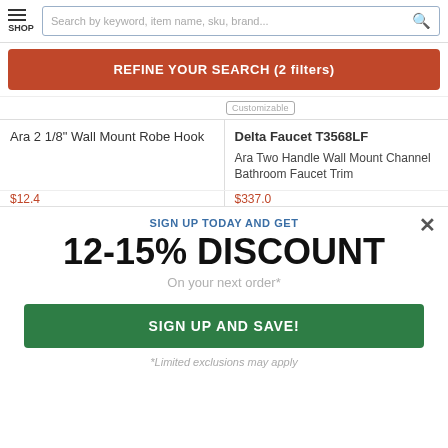Search by keyword, item name, sku, brand...
REFINE YOUR SEARCH (2 filters)
Ara 2 1/8" Wall Mount Robe Hook
Delta Faucet T3568LF
Ara Two Handle Wall Mount Channel Bathroom Faucet Trim
SIGN UP TODAY AND GET
12-15% DISCOUNT
On your next order*
SIGN UP AND SAVE!
*Limited exclusions may apply